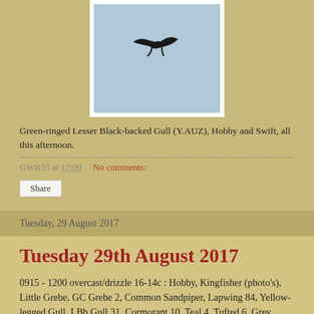[Figure (photo): A bird (swift or swallow) in flight against a pale blue sky background, small dark silhouette with swept-back wings.]
Green-ringed Lesser Black-backed Gull (Y.AUZ), Hobby and Swift, all this afternoon.
GWR55 at 17:00    No comments:
Share
Tuesday, 29 August 2017
Tuesday 29th August 2017
0915 - 1200 overcast/drizzle 16-14c : Hobby, Kingfisher (photo's), Little Grebe, GC Grebe 2, Common Sandpiper, Lapwing 84, Yellow-legged Gull, LBb Gull 31, Cormorant 10, Teal 4, Tufted 6, Grey Wagtail, Pied Wagtail 4, House Martin